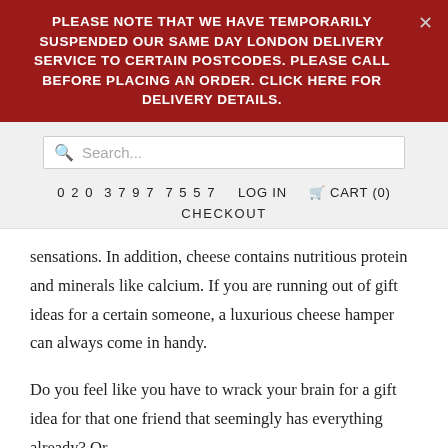PLEASE NOTE THAT WE HAVE TEMPORARILY SUSPENDED OUR SAME DAY LONDON DELIVERY SERVICE TO CERTAIN POSTCODES. PLEASE CALL BEFORE PLACING AN ORDER. CLICK HERE FOR DELIVERY DETAILS.
Search...
020 3797 7557   LOG IN   CART (0)   CHECKOUT
sensations. In addition, cheese contains nutritious protein and minerals like calcium. If you are running out of gift ideas for a certain someone, a luxurious cheese hamper can always come in handy.
Do you feel like you have to wrack your brain for a gift idea for that one friend that seemingly has everything already? Or